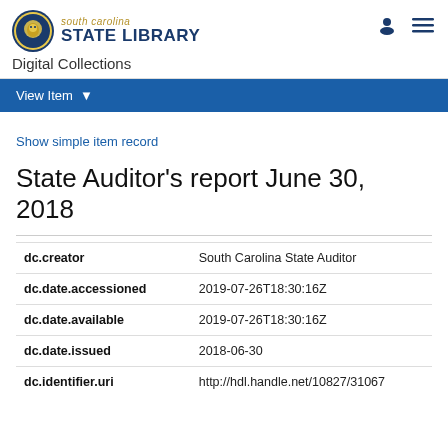south carolina STATE LIBRARY Digital Collections
View Item
Show simple item record
State Auditor's report June 30, 2018
| Field | Value |
| --- | --- |
| dc.creator | South Carolina State Auditor |
| dc.date.accessioned | 2019-07-26T18:30:16Z |
| dc.date.available | 2019-07-26T18:30:16Z |
| dc.date.issued | 2018-06-30 |
| dc.identifier.uri | http://hdl.handle.net/10827/31067 |